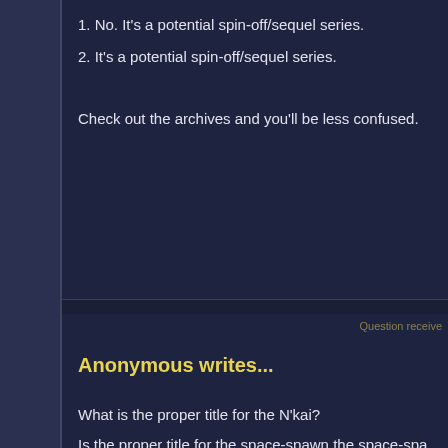1. No. It's a potential spin-off/sequel series.
2. It's a potential spin-off/sequel series.
Check out the archives and you'll be less confused.
Question received
Anonymous writes...
What is the proper title for the N'kai?
Is the proper title for the space-spawn the space-spa
Is the gargoyles' proper title the gargoyle nation?
What about humans and New Olympians?
Greg responds...
I'm not sure what you mean... or when.
Question receive